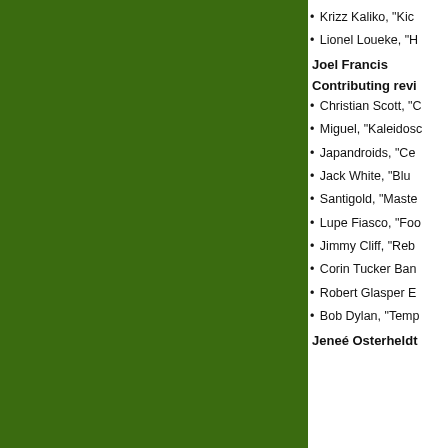[Figure (other): Dark green decorative panel on the left side of the page]
• Krizz Kaliko, "Kic
• Lionel Loueke, "H
Joel Francis
Contributing revi
• Christian Scott, "C
• Miguel, "Kaleidosc
• Japandroids, "Ce
• Jack White, "Blu
• Santigold, "Maste
• Lupe Fiasco, "Foo
• Jimmy Cliff, "Reb
• Corin Tucker Ban
• Robert Glasper E
• Bob Dylan, "Temp
Jeneé Osterheldt